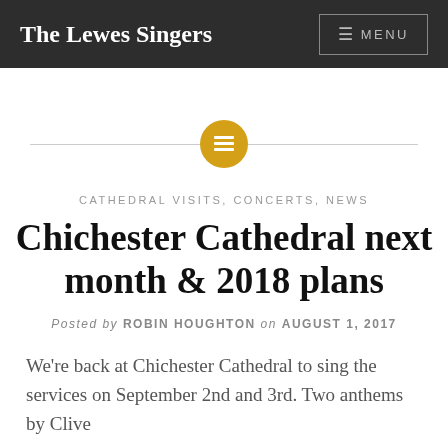The Lewes Singers
[Figure (illustration): Horizontal divider with a gold/amber circle containing a grid/table icon in white, centered on a light gray horizontal line]
CATHEDRAL VISITS, CONCERTS, NEWS
Chichester Cathedral next month & 2018 plans
Posted by ROBIN HOUGHTON on AUGUST 1, 2017
We're back at Chichester Cathedral to sing the services on September 2nd and 3rd. Two anthems by Clive